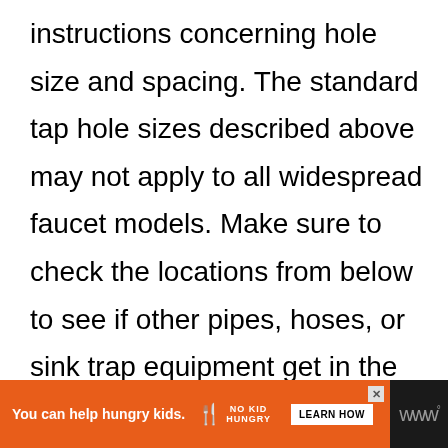instructions concerning hole size and spacing. The standard tap hole sizes described above may not apply to all widespread faucet models. Make sure to check the locations from below to see if other pipes, hoses, or sink trap equipment get in the way of fitting the attachments.
[Figure (other): Advertisement banner: orange background with text 'You can help hungry kids.' accompanied by No Kid Hungry logo and a 'LEARN HOW' button, on a dark background with a stylized W logo on the right.]